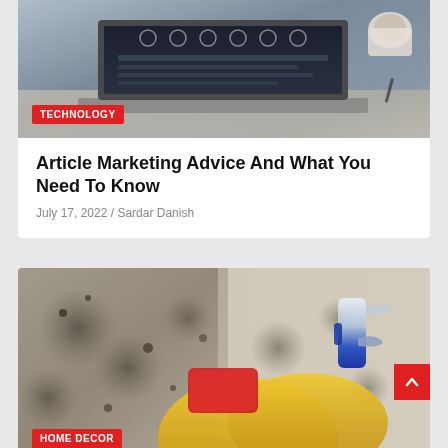[Figure (photo): Laptop computer on desk with icons on screen, cup of coffee in background, dark themed workspace]
TECHNOLOGY
Article Marketing Advice And What You Need To Know
July 17, 2022 / Sardar Danish
[Figure (photo): Person wearing yellow rubber gloves cleaning mold from wall with red sponge and spray bottle]
HOME DECOR